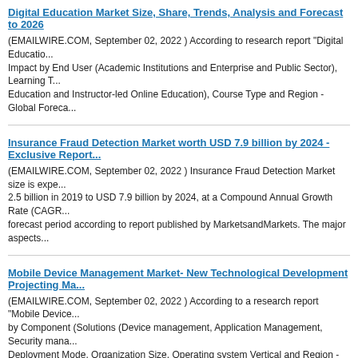Digital Education Market Size, Share, Trends, Analysis and Forecast to 2026
(EMAILWIRE.COM, September 02, 2022 ) According to research report "Digital Education... Impact by End User (Academic Institutions and Enterprise and Public Sector), Learning T... Education and Instructor-led Online Education), Course Type and Region - Global Foreca...
Insurance Fraud Detection Market worth USD 7.9 billion by 2024 - Exclusive Report...
(EMAILWIRE.COM, September 02, 2022 ) Insurance Fraud Detection Market size is expe... 2.5 billion in 2019 to USD 7.9 billion by 2024, at a Compound Annual Growth Rate (CAGR... forecast period according to report published by MarketsandMarkets. The major aspects...
Mobile Device Management Market- New Technological Development Projecting Ma...
(EMAILWIRE.COM, September 02, 2022 ) According to a research report "Mobile Device... by Component (Solutions (Device management, Application Management, Security mana... Deployment Mode, Organization Size, Operating system Vertical and Region - Global Fo...
[Figure (logo): MarketsandMarkets logo with colorful diamond shapes and text]
Water Treatment Chemicals Market – Business Opportunities ... to 2026
(EMAILWIRE.COM, September 02, 2022 ) The global "Water Trea... size is projected to reach USD 43.3 billion by 2027 from USD 35.9 billion in 2022, at CA...